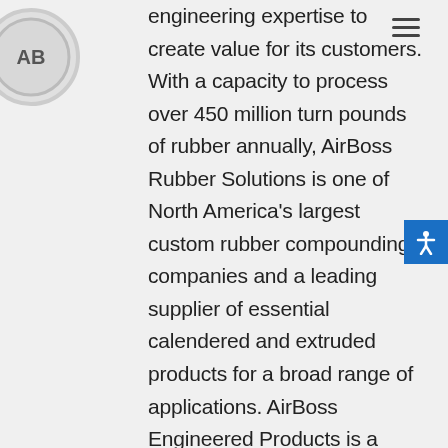[Figure (logo): AirBoss circular logo, partially visible in top-left corner]
[Figure (other): Hamburger menu icon in top-right corner]
engineering expertise to create value for its customers. With a capacity to process over 450 million turn pounds of rubber annually, AirBoss Rubber Solutions is one of North America's largest custom rubber compounding companies and a leading supplier of essential calendered and extruded products for a broad range of applications. AirBoss Engineered Products is a world leader in the supply of life-saving products for the military and a leading supplier of innovative anti-vibration solutions to the North American automotive
[Figure (other): Blue accessibility icon button on the right side]